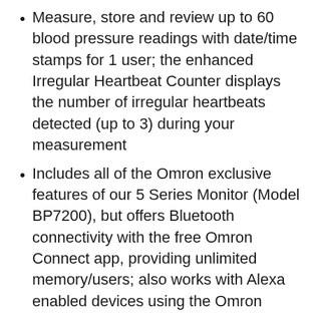Measure, store and review up to 60 blood pressure readings with date/time stamps for 1 user; the enhanced Irregular Heartbeat Counter displays the number of irregular heartbeats detected (up to 3) during your measurement
Includes all of the Omron exclusive features of our 5 Series Monitor (Model BP7200), but offers Bluetooth connectivity with the free Omron Connect app, providing unlimited memory/users; also works with Alexa enabled devices using the Omron Health skill
Hypertension indicator displays if your systolic and/or diastolic are above normal range; the soft Wide Range D...